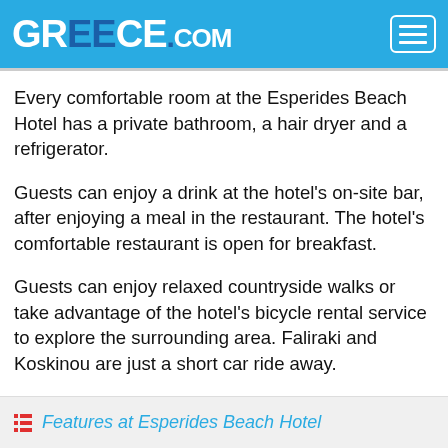GREECE.COM
Every comfortable room at the Esperides Beach Hotel has a private bathroom, a hair dryer and a refrigerator.
Guests can enjoy a drink at the hotel's on-site bar, after enjoying a meal in the restaurant. The hotel's comfortable restaurant is open for breakfast.
Guests can enjoy relaxed countryside walks or take advantage of the hotel's bicycle rental service to explore the surrounding area. Faliraki and Koskinou are just a short car ride away.
Features at Esperides Beach Hotel